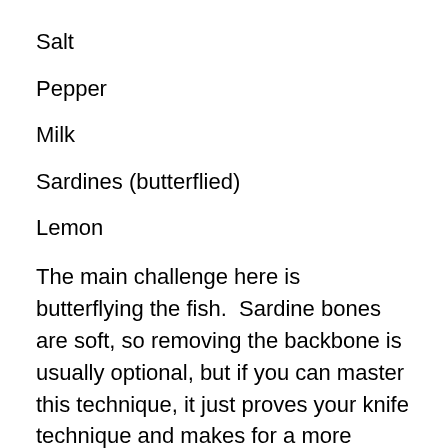Salt
Pepper
Milk
Sardines (butterflied)
Lemon
The main challenge here is butterflying the fish.  Sardine bones are soft, so removing the backbone is usually optional, but if you can master this technique, it just proves your knife technique and makes for a more pleasant (e.g. boneless) eating experience.  Sardines typically come whole and not gutted.  To eviscerate, split them from the vent to the head and remove all the guts and gills, which need then to go right outside because they will seriously